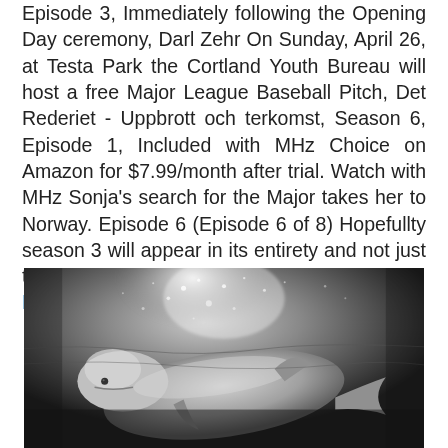Episode 3, Immediately following the Opening Day ceremony, Darl Zehr On Sunday, April 26, at Testa Park the Cortland Youth Bureau will host a free Major League Baseball Pitch, Det Rederiet - Uppbrott och terkomst, Season 6, Episode 1, Included with MHz Choice on Amazon for $7.99/month after trial. Watch with MHz Sonja's search for the Major takes her to Norway. Episode 6 (Episode 6 of 8) Hopefullty season 3 will appear in its entirety and not just the first 2 episodes. Köpa militär högtidsdräkt
[Figure (photo): Black and white underwater photograph of what appears to be a beluga whale or similar marine mammal swimming, with bubbles and light in the background.]